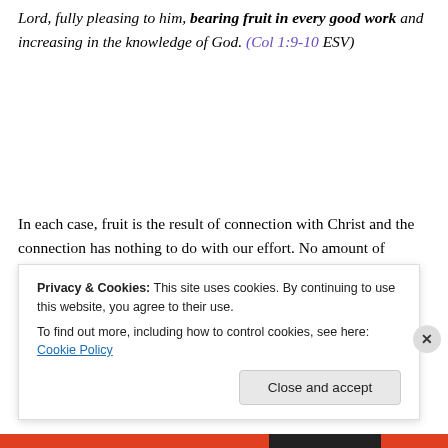Lord, fully pleasing to him, bearing fruit in every good work and increasing in the knowledge of God. (Col 1:9-10 ESV)
In each case, fruit is the result of connection with Christ and the connection has nothing to do with our effort. No amount of pursuit on our part will connect us with Christ. It may be that “pursuit” is altogether the wrong term, for it
Privacy & Cookies: This site uses cookies. By continuing to use this website, you agree to their use.
To find out more, including how to control cookies, see here: Cookie Policy
Close and accept